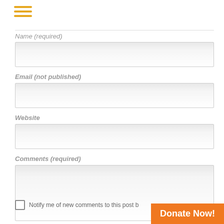[Figure (other): Hamburger menu icon with three horizontal orange lines]
Name (required)
[Figure (other): Text input field for Name]
Email (not published)
[Figure (other): Text input field for Email]
Website
[Figure (other): Text input field for Website]
Comments (required)
[Figure (other): Textarea for Comments]
Notify me of new comments to this post b
Donate Now!